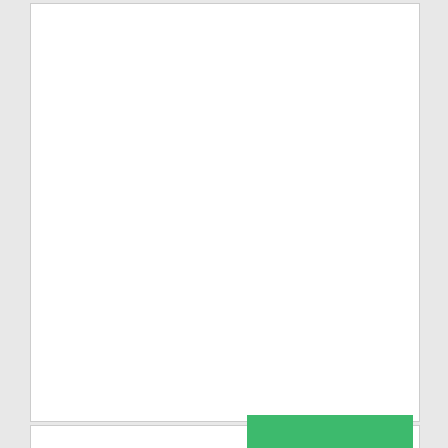[Figure (other): White card area (top portion) — blank white content area]
[Figure (logo): Taxify logo with yellow map pin icon and 'taxify' wordmark in black]
[Figure (logo): Bolt logo — white bold text 'Bolt' on green background rectangle]
[Figure (other): Close/dismiss button (circle with X)]
Advertisements
[Figure (photo): Victoria's Secret advertisement banner with woman model, VS logo, 'SHOP THE COLLECTION' text, and 'SHOP NOW' button]